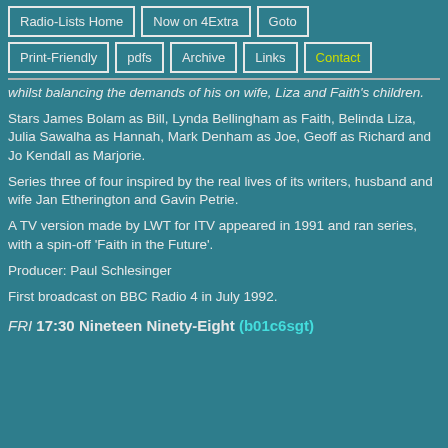Radio-Lists Home | Now on 4Extra | Goto | Print-Friendly | pdfs | Archive | Links | Contact
whilst balancing the demands of his on wife, Liza and Faith's children.
Stars James Bolam as Bill, Lynda Bellingham as Faith, Belinda Liza, Julia Sawalha as Hannah, Mark Denham as Joe, Geoff as Richard and Jo Kendall as Marjorie.
Series three of four inspired by the real lives of its writers, husband and wife Jan Etherington and Gavin Petrie.
A TV version made by LWT for ITV appeared in 1991 and ran series, with a spin-off 'Faith in the Future'.
Producer: Paul Schlesinger
First broadcast on BBC Radio 4 in July 1992.
FRI 17:30 Nineteen Ninety-Eight (b01c6sgt)